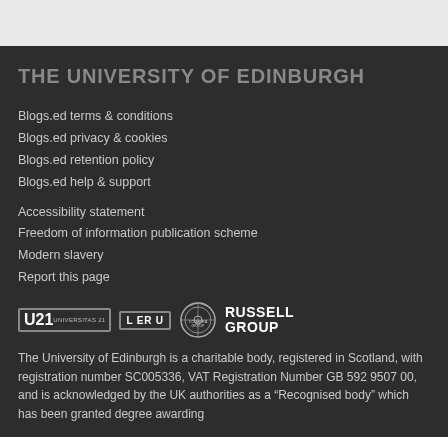THE UNIVERSITY OF EDINBURGH
Blogs.ed terms & conditions
Blogs.ed privacy & cookies
Blogs.ed retention policy
Blogs.ed help & support
Accessibility statement
Freedom of information publication scheme
Modern slavery
Report this page
[Figure (logo): University affiliations logos: Universitas 21, LERU, Coimbra Group, Russell Group]
The University of Edinburgh is a charitable body, registered in Scotland, with registration number SC005336, VAT Registration Number GB 592 9507 00, and is acknowledged by the UK authorities as a “Recognised body” which has been granted degree awarding